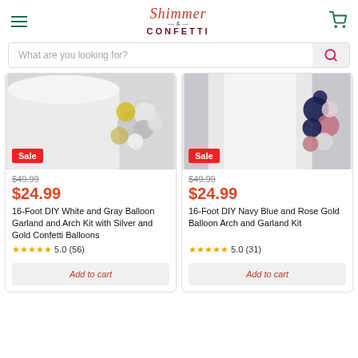Shimmer & CONFETTI
What are you looking for?
[Figure (photo): 16-Foot DIY White and Gray Balloon Garland product photo with Sale badge]
$49.99 (strikethrough), $24.99 sale price
16-Foot DIY White and Gray Balloon Garland and Arch Kit with Silver and Gold Confetti Balloons
5.0 (56) stars
Add to cart
[Figure (photo): 16-Foot DIY Navy Blue and Rose Gold Balloon Arch product photo with Sale badge]
$49.99 (strikethrough), $24.99 sale price
16-Foot DIY Navy Blue and Rose Gold Balloon Arch and Garland Kit
5.0 (31) stars
Add to cart